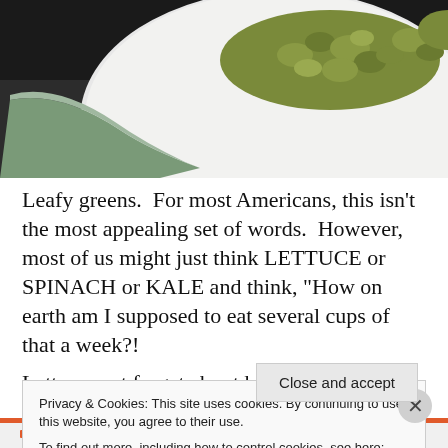[Figure (photo): Close-up photo of a white plate with green herb-covered pasta or grain dish, with a green-handled knife or utensil resting on the plate. Dark background.]
Leafy greens.  For most Americans, this isn't the most appealing set of words.  However, most of us might just think LETTUCE or  SPINACH or KALE and think, “How on earth am I supposed to eat several cups of that a week?! Lettuce, not forget about herbs (please forgive that pun, I…
Privacy & Cookies: This site uses cookies. By continuing to use this website, you agree to their use.
To find out more, including how to control cookies, see here: Cookie Policy
Close and accept